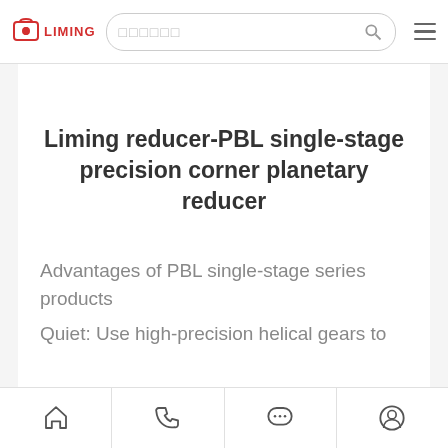LIMING
Liming reducer-PBL single-stage precision corner planetary reducer
Advantages of PBL single-stage series products
Quiet: Use high-precision helical gears to